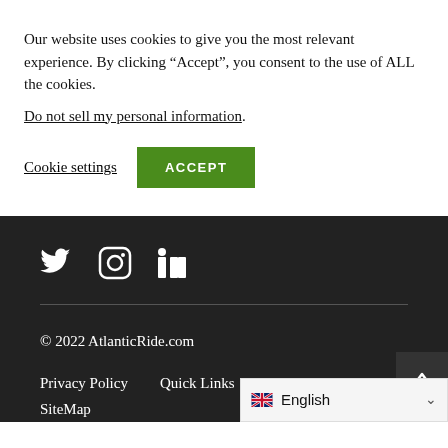Our website uses cookies to give you the most relevant experience. By clicking “Accept”, you consent to the use of ALL the cookies.
Do not sell my personal information.
Cookie settings   ACCEPT
[Figure (illustration): Social media icons: Twitter bird icon, Instagram camera icon, LinkedIn 'in' icon, displayed in white on dark background]
© 2022 AtlanticRide.com
Privacy Policy   Quick Links   About Us
SiteMap
English